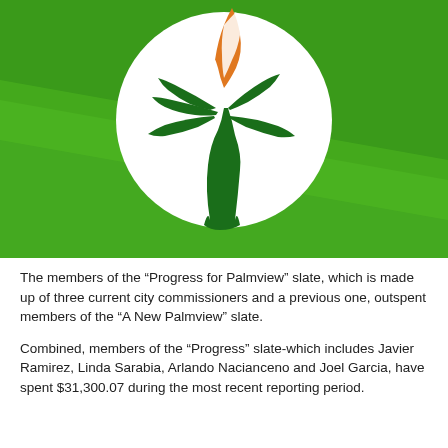[Figure (logo): Progress for Palmview logo: green background with a diagonal lighter green stripe, white circle in center containing a stylized green palm tree with orange and white flame/bird shape at top]
The members of the “Progress for Palmview” slate, which is made up of three current city commissioners and a previous one, outspent members of the “A New Palmview” slate.
Combined, members of the “Progress” slate-which includes Javier Ramirez, Linda Sarabia, Arlando Nacianceno and Joel Garcia, have spent $31,300.07 during the most recent reporting period.